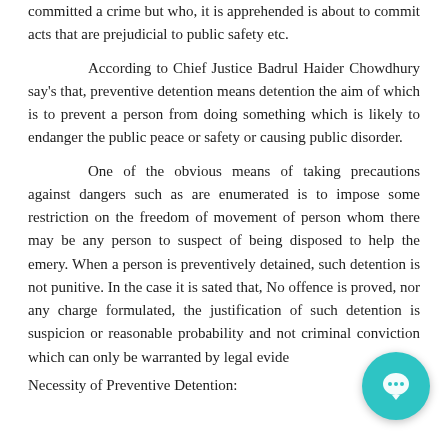committed a crime but who, it is apprehended is about to commit acts that are prejudicial to public safety etc.
According to Chief Justice Badrul Haider Chowdhury say's that, preventive detention means detention the aim of which is to prevent a person from doing something which is likely to endanger the public peace or safety or causing public disorder.
One of the obvious means of taking precautions against dangers such as are enumerated is to impose some restriction on the freedom of movement of person whom there may be any person to suspect of being disposed to help the emery. When a person is preventively detained, such detention is not punitive. In the case it is sated that, No offence is proved, nor any charge formulated, the justification of such detention is suspicion or reasonable probability and not criminal conviction which can only be warranted by legal evide...
Necessity of Preventive Detention: